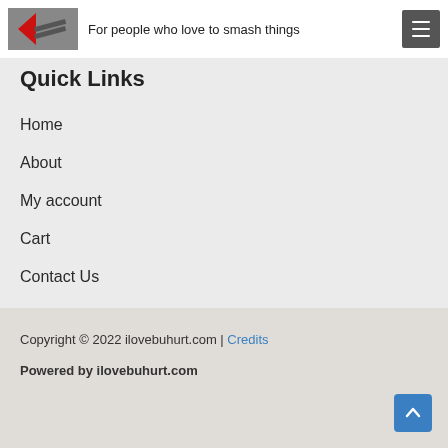For people who love to smash things
Quick Links
Home
About
My account
Cart
Contact Us
Copyright © 2022 ilovebuhurt.com | Credits
Powered by ilovebuhurt.com